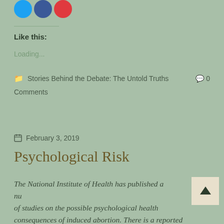[Figure (other): Three social sharing circular icon buttons: blue (Twitter), navy (Facebook), red (Pinterest/other)]
Like this:
Loading...
Stories Behind the Debate: The Untold Truths  0 Comments
February 3, 2019
Psychological Risk
The National Institute of Health has published a number of studies on the possible psychological health consequences of induced abortion. There is a reported higher risk for both preterm delivery and mood...